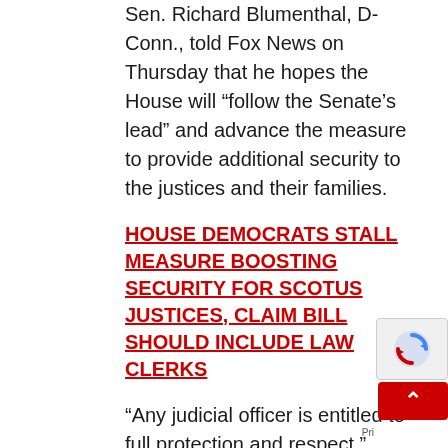Sen. Richard Blumenthal, D-Conn., told Fox News on Thursday that he hopes the House will “follow the Senate’s lead” and advance the measure to provide additional security to the justices and their families.
HOUSE DEMOCRATS STALL MEASURE BOOSTING SECURITY FOR SCOTUS JUSTICES, CLAIM BILL SHOULD INCLUDE LAW CLERKS
“Any judicial officer is entitled to full protection and respect,” Blumenthal said. “Any violence is abhorrent. There is a role and a place for peaceful protest and a time, place, and manner for it that is perfectly appropriate, but violence ought to be deterred by strong steps and I hope that the House will follow the Senate’s lead.”